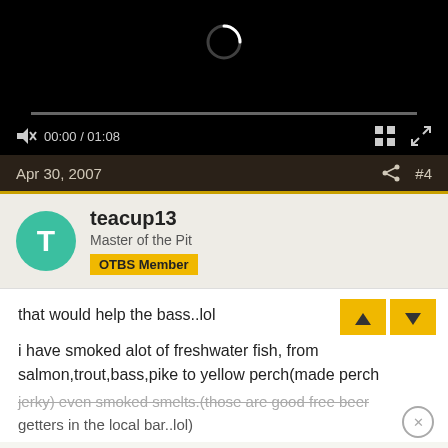[Figure (screenshot): Video player showing loading spinner, progress bar at 00:00/01:08, with playback controls including muted speaker, grid icon, and expand icon on black background]
Apr 30, 2007   #4
teacup13
Master of the Pit
OTBS Member
that would help the bass..lol
i have smoked alot of freshwater fish, from salmon,trout,bass,pike to yellow perch(made perch jerky) even smoked smelts.(those are good free beer getters in the local bar..lol)